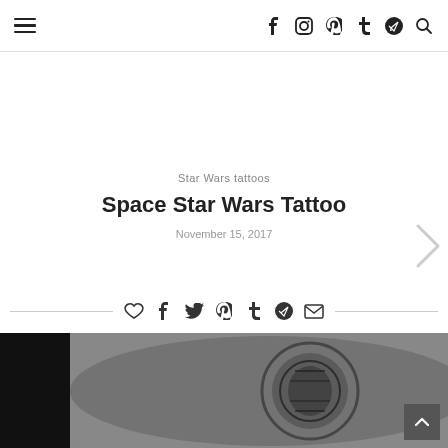≡  f  Instagram  Pinterest  t  Telegram  Search
Star Wars tattoos
Space Star Wars Tattoo
November 15, 2017
[Figure (photo): Black and white photo of a Star Wars tattoo on skin, showing a detailed circular/helmet design]
Share icons: heart, facebook, twitter, pinterest, tumblr, telegram, email